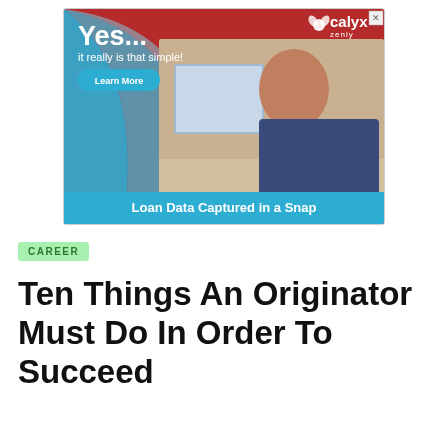[Figure (illustration): Advertisement for Calyx Zenly mortgage software showing a man working at a laptop with the text 'Yes... it really is that simple!', a 'Learn More' button, and 'Loan Data Captured in a Snap' at the bottom.]
CAREER
Ten Things An Originator Must Do In Order To Succeed